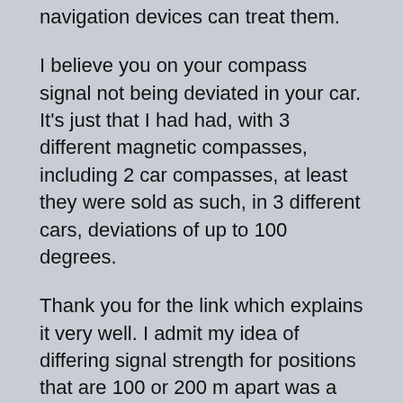navigation devices can treat them.
I believe you on your compass signal not being deviated in your car. It's just that I had had, with 3 different magnetic compasses, including 2 car compasses, at least they were sold as such, in 3 different cars, deviations of up to 100 degrees.
Thank you for the link which explains it very well. I admit my idea of differing signal strength for positions that are 100 or 200 m apart was a stupid one, but minute length differences are as surprising. But to answer your question, I thought the satellites also sent their position and an identification code, and that the receiver also receives lists of which satellite is where when or does what orbit and such, but you're right, spatial thinking is not for everyone, that's why I so heavily rely upon maps and compasses, and to be frank, my not wanting to buy a traditional navigation device for years was due to